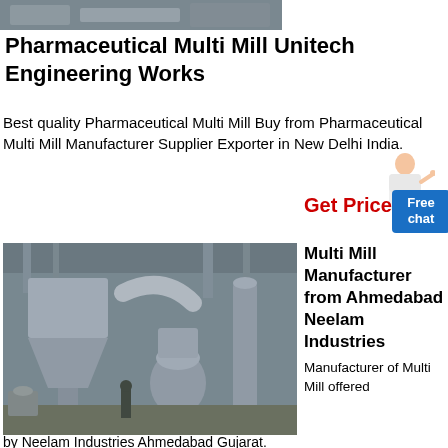[Figure (photo): Industrial equipment photo at top - partial view of manufacturing facility]
Pharmaceutical Multi Mill Unitech Engineering Works
Best quality Pharmaceutical Multi Mill Buy from Pharmaceutical Multi Mill Manufacturer Supplier Exporter in New Delhi India.
[Figure (illustration): Avatar of woman in business attire pointing]
Get Price
Free chat
[Figure (photo): Industrial multi mill machinery in a factory setting, showing hoppers and conveyor equipment]
Multi Mill Manufacturer from Ahmedabad Neelam Industries
Manufacturer of Multi Mill offered by Neelam Industries Ahmedabad Gujarat.